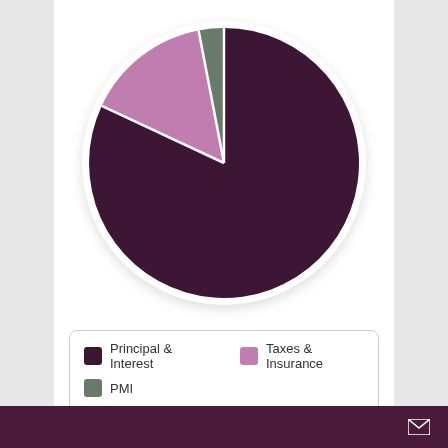[Figure (pie-chart): Mortgage Payment Breakdown]
Principal & Interest   Taxes & Insurance
PMI